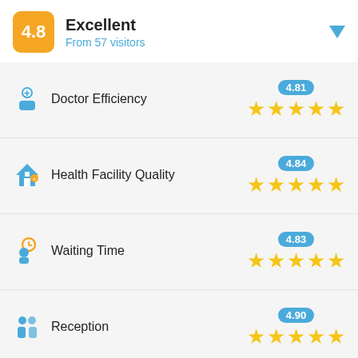4.8
Excellent
From 57 visitors
[Figure (infographic): Doctor Efficiency rating row with icon, label, score bubble 4.81, and 5 gold stars]
[Figure (infographic): Health Facility Quality rating row with icon, label, score bubble 4.84, and 5 gold stars]
[Figure (infographic): Waiting Time rating row with icon, label, score bubble 4.83, and 5 gold stars]
[Figure (infographic): Reception rating row with icon, label, score bubble 4.90, and 5 gold stars]
راكان
8/24/2022 3:10 PM